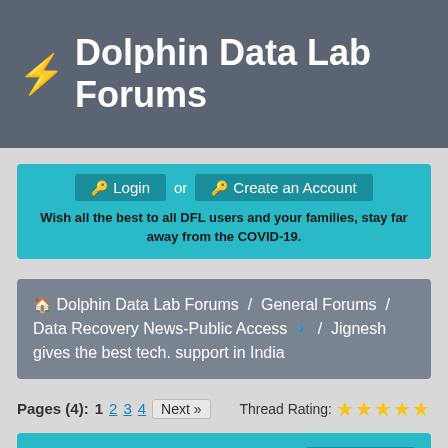⚡ Dolphin Data Lab Forums
Login or Create an Account
Wish all the best to all DFL users and your families, stay far away from the COVID-19.
🏠 Dolphin Data Lab Forums / General Forums / Data Recovery News-Public Access 🔹 / Jignesh gives the best tech. support in India
Pages (4): 1  2  3  4  Next »   Thread Rating: ★★★★★
Jignesh gives the best tech. support in India
Threaded Mode
Dolphin999  Posts: 1,633